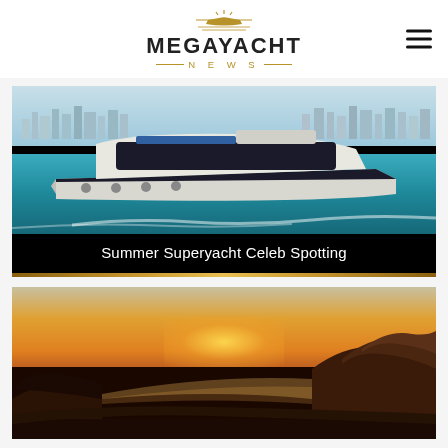MEGAYACHT NEWS
[Figure (photo): Aerial/side view of a white luxury motor yacht speeding through turquoise water with a city skyline in the background (Miami). The yacht is large, modern, with dark windows and blue accents.]
Summer Superyacht Celeb Spotting
[Figure (photo): Sunset landscape photo with dramatic orange and golden sky over rocky cliffs and mountain terrain, with mist in the valley below.]